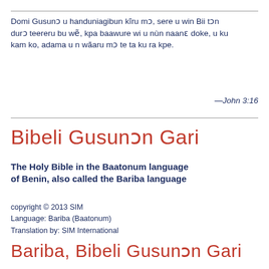Domi Gusunɔ u handuniagibun kĩru mɔ, sere u win Bii tɔn durɔ teereru bu wẽ, kpa baawure wi u nùn naanɛ doke, u ku kam ko, adama u n wãaru mɔ te ta ku ra kpe.
—John 3:16
Bibeli GusunƆn Gari
The Holy Bible in the Baatonum language of Benin, also called the Bariba language
copyright © 2013 SIM
Language: Bariba (Baatonum)
Translation by: SIM International
Bariba, Bibeli GusunƆn Gari